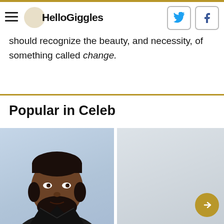HelloGiggles
should recognize the beauty, and necessity, of something called change.
Popular in Celeb
[Figure (photo): Portrait photo of a Black man with a beard wearing a black leather jacket, against a light blue/white background.]
[Figure (photo): Portrait photo of a smiling white man with brown hair, wearing an orange/mustard jacket, at what appears to be a Grammy event. A gold circular arrow navigation button overlays the bottom-right corner.]